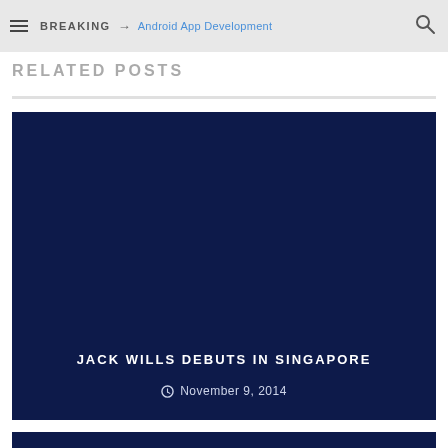BREAKING → Android App Development
RELATED POSTS
[Figure (other): Dark navy blue card image placeholder for article about Jack Wills debuting in Singapore]
JACK WILLS DEBUTS IN SINGAPORE
November 9, 2014